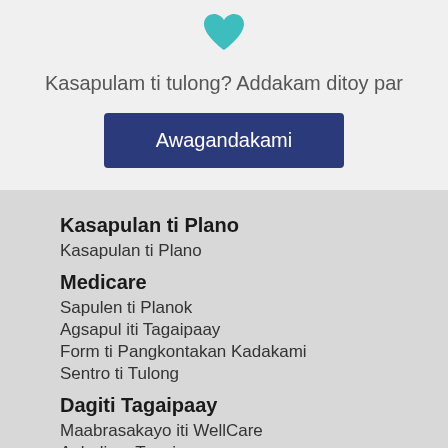[Figure (illustration): Teal heart icon at top]
Kasapulam ti tulong? Addakam ditoy par
Awagandakami
Kasapulan ti Plano
Kasapulan ti Plano
Medicare
Sapulen ti Planok
Agsapul iti Tagaipaay
Form ti Pangkontakan Kadakami
Sentro ti Tulong
Dagiti Tagaipaay
Maabrasakayo iti WellCare
Agbalin a Tagaipaay
Dagiti Resources ti Medicare